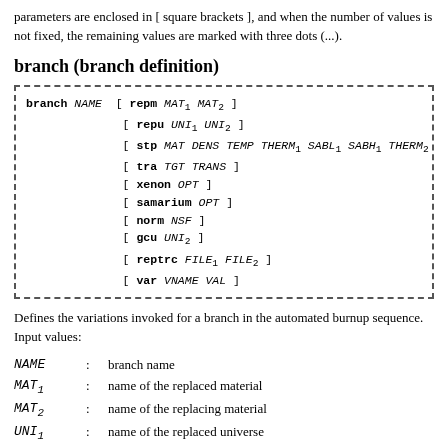parameters are enclosed in [ square brackets ], and when the number of values is not fixed, the remaining values are marked with three dots (...).
branch (branch definition)
branch NAME [ repm MAT1 MAT2 ] [ repu UNI1 UNI2 ] [ stp MAT DENS TEMP THERM1 SABL1 SABH1 THERM2 SABL2 SABH2 ] [ tra TGT TRANS ] [ xenon OPT ] [ samarium OPT ] [ norm NSF ] [ gcu UNI2 ] [ reptrc FILE1 FILE2 ] [ var VNAME VAL ]
Defines the variations invoked for a branch in the automated burnup sequence. Input values:
NAME : branch name
MAT1 : name of the replaced material
MAT2 : name of the replacing material
UNI1 : name of the replaced universe
UNI2 : name of the replacing universe